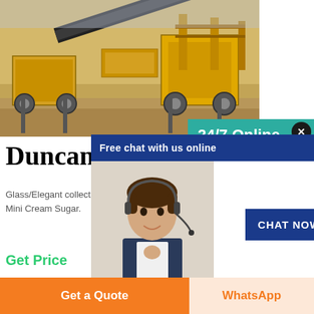[Figure (photo): Yellow mining/quarrying conveyor belt equipment at an open-pit mine site]
Duncan
Glass/Elegant collectible--available For Mini Cream Sugar.
Get Price
[Figure (screenshot): Free chat with us online popup with a customer service agent photo and CHAT NOW button]
[Figure (screenshot): 24/7 Online side panel with agent photo, Have any requests click here text, and Quotation button]
Get a Quote
WhatsApp